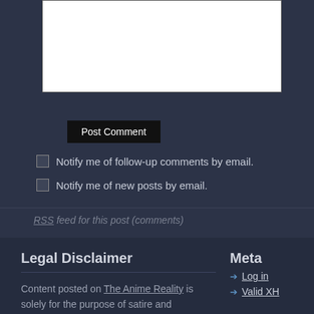[Figure (screenshot): White textarea input box for comment entry]
Post Comment
Notify me of follow-up comments by email.
Notify me of new posts by email.
RSS feed for this post (comments)
Legal Disclaimer
Content posted on The Anime Reality is solely for the purpose of satire and entertainment, and is not copyright anyone associated with this site. Especially not us.
Meta
Log in
Valid XH
Powered by WordPress. Back to top ↑